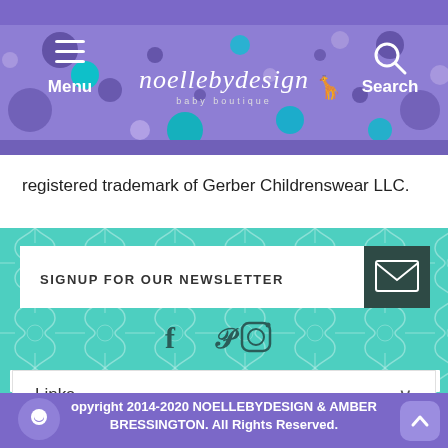[Figure (screenshot): Website header for noellebydesign baby boutique with purple background, colorful polka dots, hamburger menu icon, logo, and search icon]
registered trademark of Gerber Childrenswear LLC.
[Figure (infographic): Teal section with trellis/quatrefoil pattern background containing newsletter signup bar, social media icons (Facebook, Pinterest, Instagram), and Links dropdown]
Copyright 2014-2020 NOELLEBYDESIGN & AMBER BRESSINGTON. All Rights Reserved.